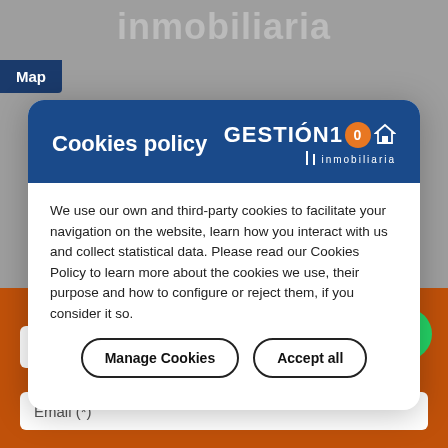inmobiliaria
Map
Cookies policy
[Figure (logo): GESTIÓN 10 inmobiliaria logo in white on dark blue background]
We use our own and third-party cookies to facilitate your navigation on the website, learn how you interact with us and collect statistical data. Please read our Cookies Policy to learn more about the cookies we use, their purpose and how to configure or reject them, if you consider it so.
Manage Cookies
Accept all
Name (*)
Email (*)